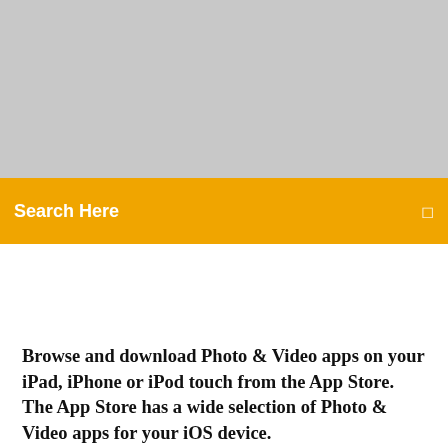[Figure (other): Gray banner placeholder image area at the top of the page]
Search Here
Browse and download Photo & Video apps on your iPad, iPhone or iPod touch from the App Store. The App Store has a wide selection of Photo & Video apps for your iOS device.
PicsArt Photo Studio 13.0.0 APK MOD Full PREMIUM Unlocked